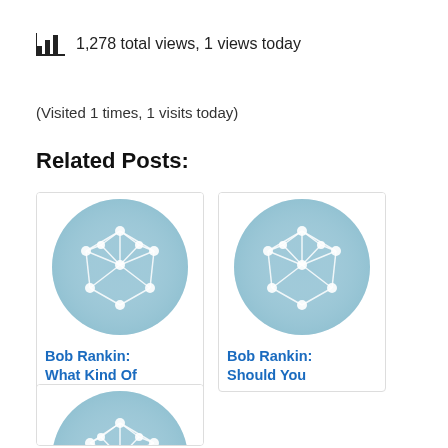1,278 total views,  1 views today
(Visited 1 times, 1 visits today)
Related Posts:
[Figure (illustration): Network graph icon on circular teal background]
Bob Rankin: What Kind Of
[Figure (illustration): Network graph icon on circular teal background]
Bob Rankin: Should You
[Figure (illustration): Network graph icon on circular teal background]